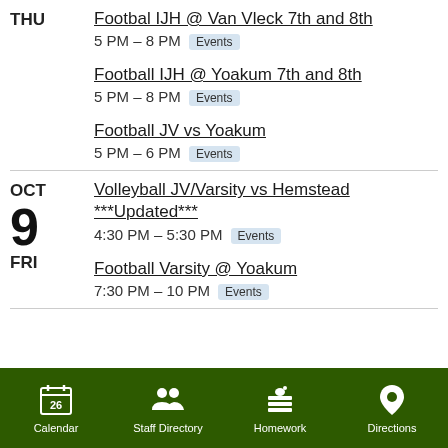THU
Footbal IJH @ Van Vleck 7th and 8th
5 PM – 8 PM  Events
Football IJH @ Yoakum 7th and 8th
5 PM – 8 PM  Events
Football JV vs Yoakum
5 PM – 6 PM  Events
OCT 9 FRI
Volleyball JV/Varsity vs Hemstead ***Updated***
4:30 PM – 5:30 PM  Events
Football Varsity @ Yoakum
7:30 PM – 10 PM  Events
Calendar  Staff Directory  Homework  Directions